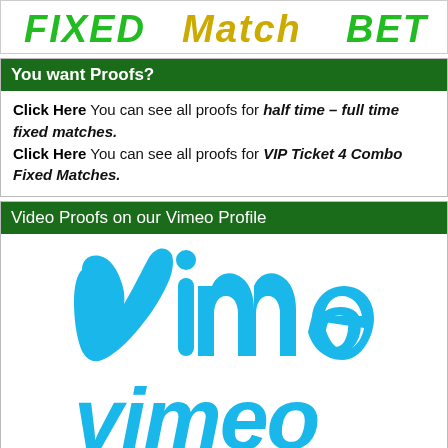[Figure (logo): Partial top banner showing 'FIXED MATCH BET' text logo with green and yellow colors, cut off at top]
You want Proofs?
Click Here You can see all proofs for half time – full time fixed matches.
Click Here You can see all proofs for VIP Ticket 4 Combo Fixed Matches.
Video Proofs on our Vimeo Profile
[Figure (logo): Vimeo logo in sky blue color, large centered]
Visit our Vimeo Profile on this LINK to can see our video proofs. All new video proofs we will publish on our Vimeo Profile.